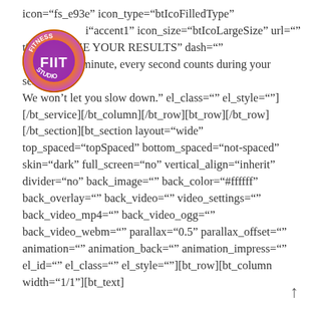[Figure (logo): Fitness FIIT Studio circular logo with orange/yellow/purple gradient and stylized 'FIIT' lettering]
icon="fs_e93e" icon_type="btIcoFilledType" icon_color="accent1" icon_size="btIcoLargeSize" url="" title="MAXIMIZE YOUR RESULTS" dash="" text="Every minute, every second counts during your sessions. We won't let you slow down." el_class="" el_style=""] [/bt_service][/bt_column][/bt_row][bt_row][/bt_row] [/bt_section][bt_section layout="wide" top_spaced="topSpaced" bottom_spaced="not-spaced" skin="dark" full_screen="no" vertical_align="inherit" divider="no" back_image="" back_color="#ffffff" back_overlay="" back_video="" video_settings="" back_video_mp4="" back_video_ogg="" back_video_webm="" parallax="0.5" parallax_offset="" animation="" animation_back="" animation_impress="" el_id="" el_class="" el_style=""][bt_row][bt_column width="1/1"][bt_text]